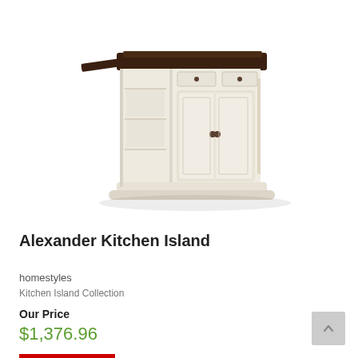[Figure (photo): White kitchen island with dark brown wooden top, two cabinet doors with knobs, open shelving on the left side, and a drop-leaf extension on the left. The piece is painted white/cream color.]
Alexander Kitchen Island
homestyles
Kitchen Island Collection
Our Price
$1,376.96